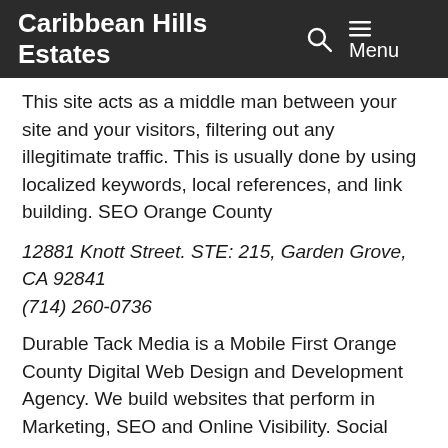Caribbean Hills Estates   🔍   ☰ Menu
This site acts as a middle man between your site and your visitors, filtering out any illegitimate traffic. This is usually done by using localized keywords, local references, and link building. SEO Orange County
12881 Knott Street. STE: 215, Garden Grove, CA 92841
(714) 260-0736
Durable Tack Media is a Mobile First Orange County Digital Web Design and Development Agency. We build websites that perform in Marketing, SEO and Online Visibility. Social Media Management, Content Writing and Creation for your marketing needs. SEO Orang…